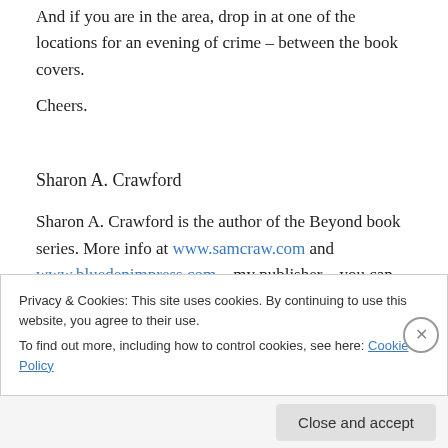And if you are in the area, drop in at one of the locations for an evening of crime – between the book covers.
Cheers.
Sharon A. Crawford
Sharon A. Crawford is the author of the Beyond book series. More info at www.samcraw.com and www.bluedenimpress.com – my publisher – you can also purchase e-books – both Kindle and Kobo from Blue
Privacy & Cookies: This site uses cookies. By continuing to use this website, you agree to their use.
To find out more, including how to control cookies, see here: Cookie Policy
Close and accept